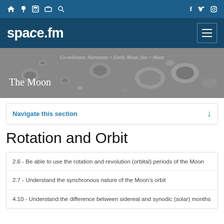space.fm
[Figure (screenshot): Moon surface hero banner image in grayscale showing lunar craters]
Co-ordinates: Astronomy > Earth, Moon, Sun > Moon
The Moon
Navigate this section
Rotation and Orbit
2.6 - Be able to use the rotation and revolution (orbital) periods of the Moon
2.7 - Understand the synchronous nature of the Moon's orbit
4.10 - Understand the difference between sidereal and synodic (solar) months